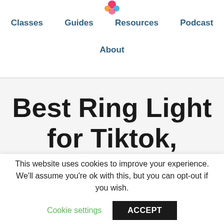[Figure (logo): Website logo - colorful flower/star icon]
Classes   Guides   Resources   Podcast   About
Best Ring Light for Tiktok, YouTube, Instagram, and
This website uses cookies to improve your experience. We'll assume you're ok with this, but you can opt-out if you wish.
Cookie settings   ACCEPT